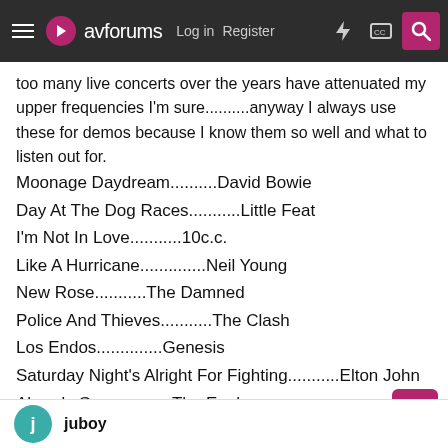avforums | Log in | Register
too many live concerts over the years have attenuated my upper frequencies I'm sure..........anyway I always use these for demos because I know them so well and what to listen out for.
Moonage Daydream..........David Bowie
Day At The Dog Races...........Little Feat
I'm Not In Love...........10c.c.
Like A Hurricane..............Neil Young
New Rose...........The Damned
Police And Thieves...........The Clash
Los Endos..............Genesis
Saturday Night's Alright For Fighting...........Elton John
Already Gone...........The Eagles
Positively 4th Street .....................Bob Dylan
Although I like lots of other musical genres these are what I rely on to decide on purchases.
juboy